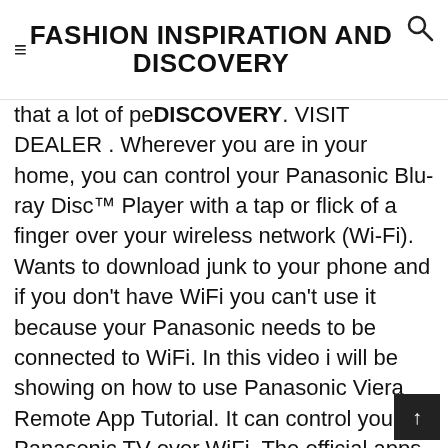≡FASHION INSPIRATION AND DISCOVERY
that a lot of people agree. VISIT DEALER . Wherever you are in your home, you can control your Panasonic Blu-ray Disc™ Player with a tap or flick of a finger over your wireless network (Wi-Fi). Wants to download junk to your phone and if you don't have WiFi you can't use it because your Panasonic needs to be connected to WiFi. In this video i will be showing on how to use Panasonic Viera Remote App Tutorial. It can control your Panasonic TV over WiFi. The official apps. using all functions, use Panasonic Image App